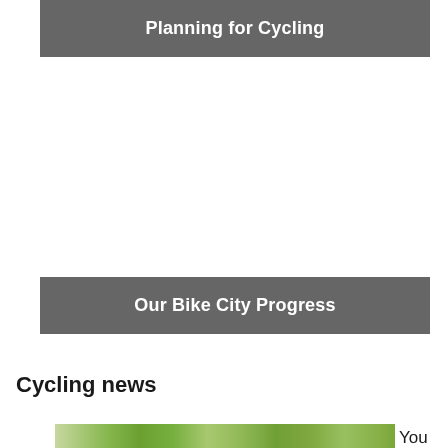Planning for Cycling
Our Bike City Progress
Cycling news
[Figure (photo): Outdoor nature/landscape photo showing green vegetation, partially visible cyclist figure in background]
You can